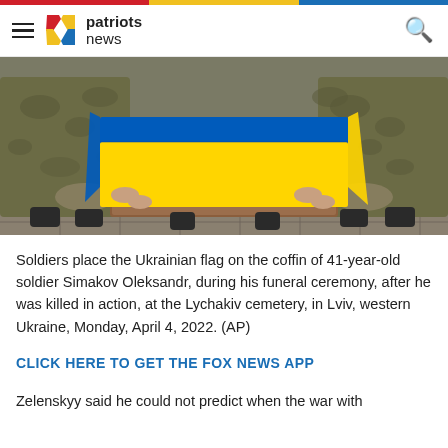patriots news
[Figure (photo): Soldiers carrying a coffin draped with the blue and yellow Ukrainian flag at a funeral ceremony. Multiple soldiers in camouflage uniforms are visible on both sides of the coffin. The setting appears to be outdoors on a paved surface.]
Soldiers place the Ukrainian flag on the coffin of 41-year-old soldier Simakov Oleksandr, during his funeral ceremony, after he was killed in action, at the Lychakiv cemetery, in Lviv, western Ukraine, Monday, April 4, 2022. (AP)
CLICK HERE TO GET THE FOX NEWS APP
Zelenskyy said he could not predict when the war with